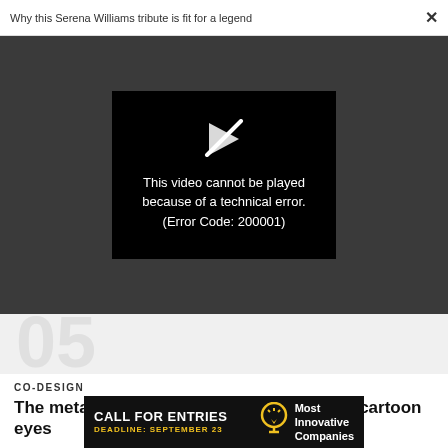Why this Serena Williams tribute is fit for a legend    ×
[Figure (screenshot): Video player showing an error: 'This video cannot be played because of a technical error. (Error Code: 200001)' on a black background, set within a dark grey modal area.]
05
CO-DESIGN
The metaverse is as dead as Zuckerberg's cartoon eyes
[Figure (infographic): Advertisement banner: 'CALL FOR ENTRIES DEADLINE: SEPTEMBER 23' with a lightbulb icon and 'Most Innovative Companies' text on black background.]